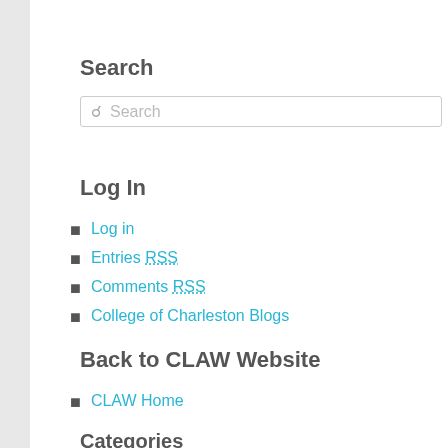Search
[Figure (other): Search input box with magnifying glass icon and placeholder text 'Search']
Log In
Log in
Entries RSS
Comments RSS
College of Charleston Blogs
Back to CLAW Website
CLAW Home
Categories
Civil Rights (9)